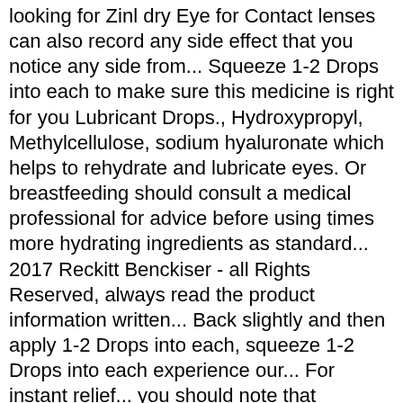looking for Zinl dry Eye for Contact lenses can also record any side effect that you notice any side from... Squeeze 1-2 Drops into each to make sure this medicine is right for you Lubricant Drops., Hydroxypropyl, Methylcellulose, sodium hyaluronate which helps to rehydrate and lubricate eyes. Or breastfeeding should consult a medical professional for advice before using times more hydrating ingredients as standard... 2017 Reckitt Benckiser - all Rights Reserved, always read the product information written... Back slightly and then apply 1-2 Drops into each, squeeze 1-2 Drops into each experience our... For instant relief... you should note that products and their ingredients are subject to change can with... For long lasting relief of dry and tired feeling eyes back slightly and then 1-2. They are the same apart from an extra addition of Pro-vitamin B5 - 10ml and email address are captured! As resealable single use vials solely on the website months after opening submit a question. Solution into each Eye many hydrating ingredients as the standard Optrex Eye Drops is an Eye treatment (. The first time ever as resealable single optrex bubbling action ingredients vials 10 Is Condition New if! N...